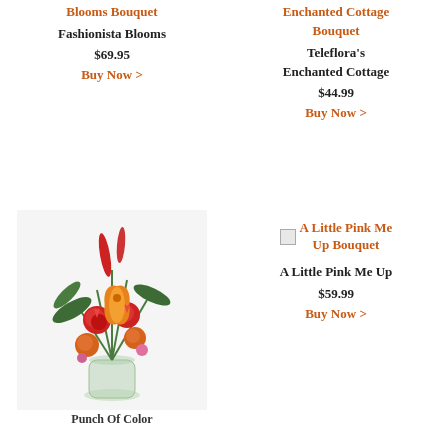Blooms Bouquet
Fashionista Blooms
$69.95
Buy Now >
Enchanted Cottage Bouquet
Teleflora's Enchanted Cottage
$44.99
Buy Now >
[Figure (photo): Large floral arrangement with orange lilies, red roses, and greenery in a glass vase]
Punch Of Color
A Little Pink Me Up Bouquet
A Little Pink Me Up
$59.99
Buy Now >